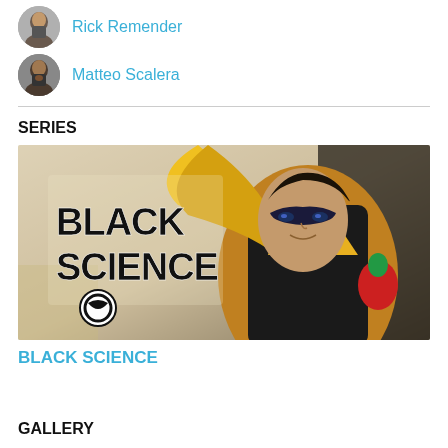Rick Remender
Matteo Scalera
SERIES
[Figure (illustration): Black Science comic series banner showing a superhero in a yellow and black costume with 'BLACK SCIENCE' logo text and a circular symbol]
BLACK SCIENCE
GALLERY